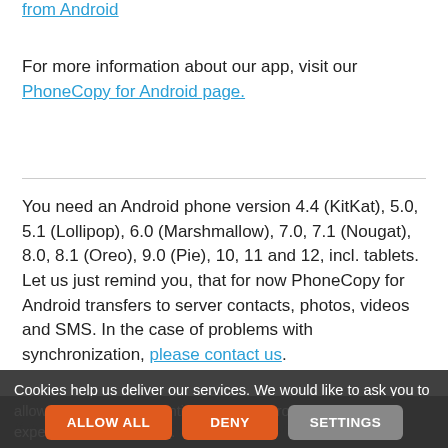from Android
For more information about our app, visit our PhoneCopy for Android page.
You need an Android phone version 4.4 (KitKat), 5.0, 5.1 (Lollipop), 6.0 (Marshmallow), 7.0, 7.1 (Nougat), 8.0, 8.1 (Oreo), 9.0 (Pie), 10, 11 and 12, incl. tablets. Let us just remind you, that for now PhoneCopy for Android transfers to server contacts, photos, videos and SMS. In the case of problems with synchronization, please contact us.
Cookies help us deliver our services. We would like to ask you to allow us using non-essential cookies to provide you the best experience. Learn more.
To BLU G6
If you want to transfer contacts to your Android device